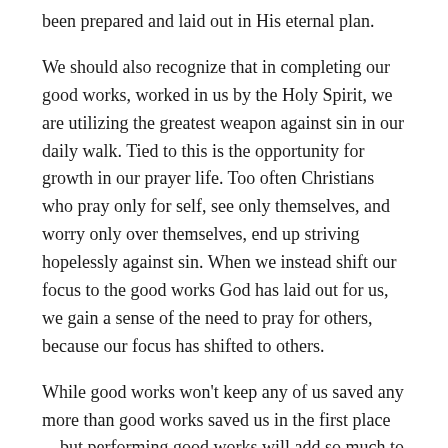been prepared and laid out in His eternal plan.
We should also recognize that in completing our good works, worked in us by the Holy Spirit, we are utilizing the greatest weapon against sin in our daily walk. Tied to this is the opportunity for growth in our prayer life. Too often Christians who pray only for self, see only themselves, and worry only over themselves, end up striving hopelessly against sin. When we instead shift our focus to the good works God has laid out for us, we gain a sense of the need to pray for others, because our focus has shifted to others.
While good works won't keep any of us saved any more than good works saved us in the first place—but performing good works will add so much to our spiritual lives. In fact, it is the good works we perform that helps keep our faith alive (James 2:17). Many believe James is contradicting Paul here, but that is not the case. James is